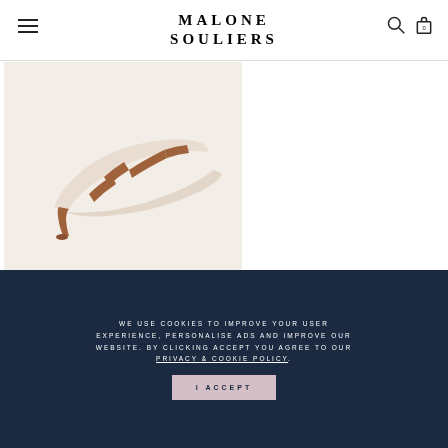MALONE SOULIERS
[Figure (photo): A beige/nude leather stiletto mule shoe (Maureen 100MM) with brown leather straps, photographed on a light background.]
MAUREEN 100MM
Ice Nude Leather Stiletto Mule
$625.00
WE USE COOKIES TO IMPROVE YOUR USER EXPERIENCE, PERSONALISE ADS AND IMPROVE OUR WEBSITE. BY CLICKING ACCEPT YOU AGREE TO OUR PRIVACY & COOKIE POLICY. I ACCEPT